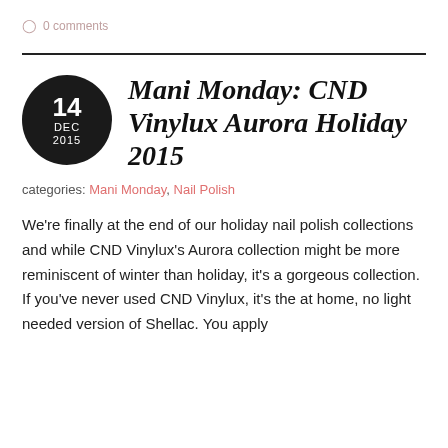0 comments
Mani Monday: CND Vinylux Aurora Holiday 2015
categories: Mani Monday, Nail Polish
We're finally at the end of our holiday nail polish collections and while CND Vinylux's Aurora collection might be more reminiscent of winter than holiday, it's a gorgeous collection. If you've never used CND Vinylux, it's the at home, no light needed version of Shellac. You apply